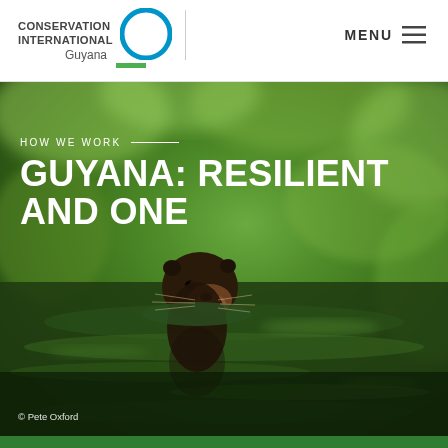[Figure (logo): Conservation International logo with circular icon and Guyana text with green bar]
MENU
[Figure (photo): Giant river otter swimming in green jungle water, photographed by Pete Oxford. Overlaid with hero text about Guyana.]
HOW WE WORK — GUYANA: RESILIENT AND ONE
© Pete Oxford